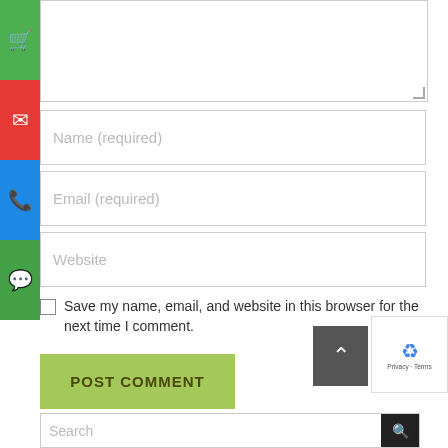[Figure (screenshot): Comment form with text area, name, email, website input fields, checkbox for saving info, POST COMMENT button, sidebar with cart/email/phone/whatsapp icons, reCAPTCHA widget, scroll-to-top button, and search bar at bottom.]